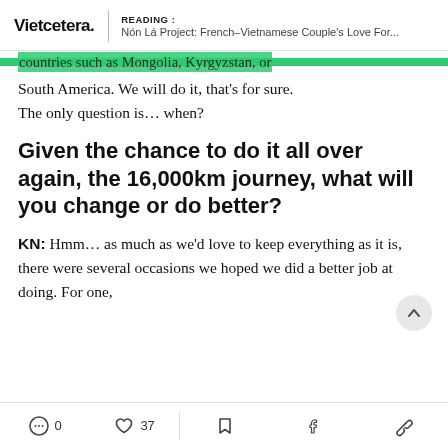Vietcetera. | READING : Nón Lá Project: French–Vietnamese Couple's Love For...
countries such as Mongolia, Kyrgyzstan, or South America. We will do it, that's for sure. The only question is… when?
Given the chance to do it all over again, the 16,000km journey, what will you change or do better?
KN: Hmm… as much as we'd love to keep everything as it is, there were several occasions we hoped we did a better job at doing. For one,
0  37  [bookmark]  f  [link]